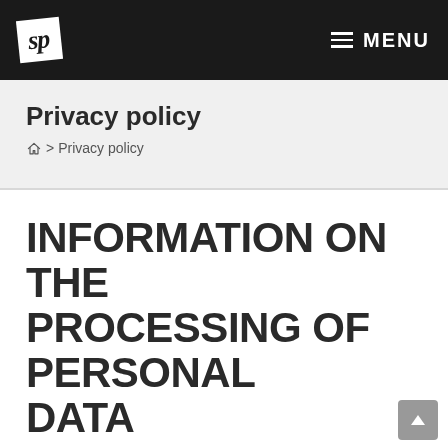SP | MENU
Privacy policy
🏠 > Privacy policy
INFORMATION ON THE PROCESSING OF PERSONAL DATA
This Privacy Policy is intended to describe the management